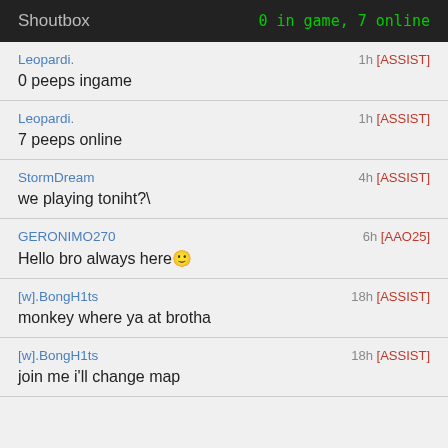Shoutbox | 0 in game, 7 online
Leopardi. | 1h [ASSIST]
0 peeps ingame
Leopardi. | 1h [ASSIST]
7 peeps online
StormDream | 4h [ASSIST]
we playing toniht?\
GERONIMO270 | 6h [AAO25]
Hello bro always here🙂
[w].BongH1ts | 18h [ASSIST]
monkey where ya at brotha
[w].BongH1ts | 18h [ASSIST]
join me i'll change map